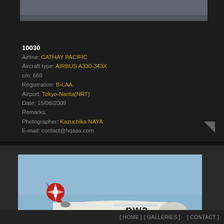[Figure (photo): Partial top view of an aircraft against grey sky — upper portion only visible]
10030
Airline: CATHAY PACIFIC
Aircraft type: AIRBUS A330-343X
c/n: 669
Registration: B-LAA
Airport: Tokyo-Narita(NRT)
Date: 15/08/2009
Remarks:
Photographer: Kazuchika NAYA
E-mail: contact@hqaas.com

Category: AIRBUS A330 Hits: 973
[Figure (photo): Northwest Airlines (NWA) aircraft — white fuselage with red tail and NWA livery, photographed in flight against blue sky]
[ HOME ] [ GALLERIES ]    [ CONTACT ]